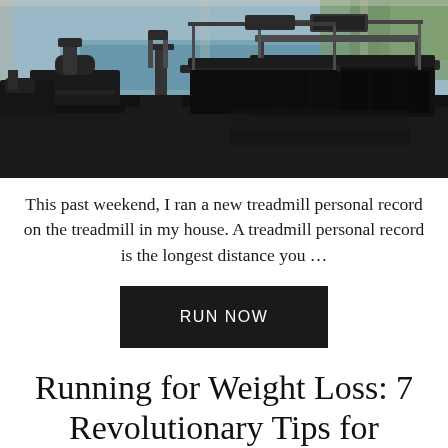[Figure (photo): Indoor gym with treadmills in the foreground, exercise bikes and elliptical machines in the background, large windows showing a pool and outdoor greenery.]
This past weekend, I ran a new treadmill personal record on the treadmill in my house. A treadmill personal record is the longest distance you …
RUN NOW
Running for Weight Loss: 7 Revolutionary Tips for Results